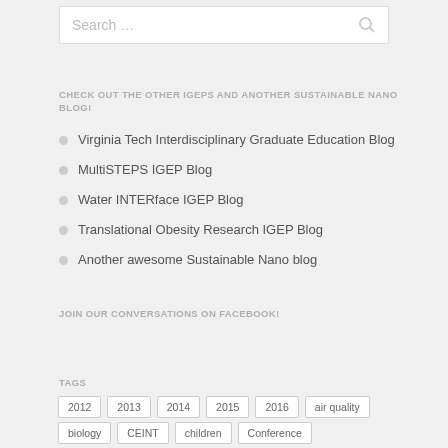[Figure (screenshot): Search bar with placeholder text 'Search …' and search icon on the right]
CHECK OUT THE OTHER IGEPS AND ANOTHER SUSTAINABLE NANO BLOG!
Virginia Tech Interdisciplinary Graduate Education Blog
MultiSTEPS IGEP Blog
Water INTERface IGEP Blog
Translational Obesity Research IGEP Blog
Another awesome Sustainable Nano blog
JOIN OUR CONVERSATIONS ON FACEBOOK!
TAGS
2012  2013  2014  2015  2016  air quality  biology  CEINT  children  Conference  consumer products  DNA  environment  events